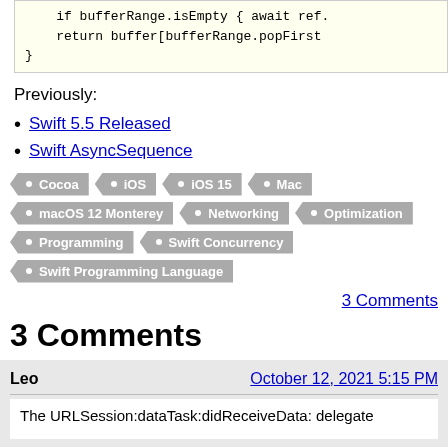if bufferRange.isEmpty { await ref.
    return buffer[bufferRange.popFirst
}
Previously:
Swift 5.5 Released
Swift AsyncSequence
Tags: Cocoa, iOS, iOS 15, Mac, macOS 12 Monterey, Networking, Optimization, Programming, Swift Concurrency, Swift Programming Language
3 Comments
3 Comments
Leo — October 12, 2021 5:15 PM
The URLSession:dataTask:didReceiveData: delegate